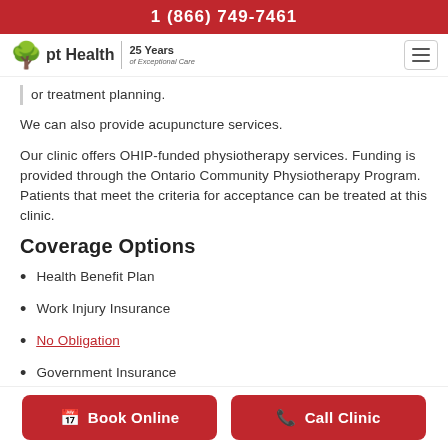1 (866) 749-7461
[Figure (logo): pt Health logo with tree icon and '25 Years of Exceptional Care' tagline, plus hamburger menu icon]
or treatment planning.
We can also provide acupuncture services.
Our clinic offers OHIP-funded physiotherapy services. Funding is provided through the Ontario Community Physiotherapy Program. Patients that meet the criteria for acceptance can be treated at this clinic.
Coverage Options
Health Benefit Plan
Work Injury Insurance
No Obligation
Government Insurance
Book Online
Call Clinic